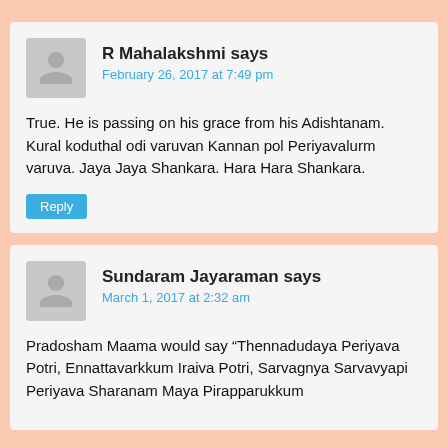R Mahalakshmi says
February 26, 2017 at 7:49 pm
True. He is passing on his grace from his Adishtanam. Kural koduthal odi varuvan Kannan pol Periyavalurm varuva. Jaya Jaya Shankara. Hara Hara Shankara.
Reply
Sundaram Jayaraman says
March 1, 2017 at 2:32 am
Pradosham Maama would say “Thennadudaya Periyava Potri, Ennattavarkkum Iraiva Potri, Sarvagnya Sarvavyapi Periyava Sharanam Maya Pirapparukkum